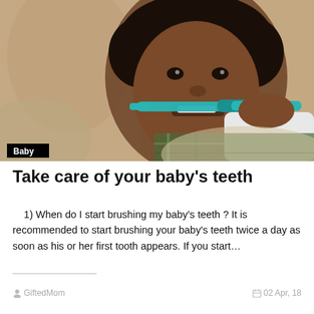[Figure (photo): A young child brushing their teeth with a teal toothbrush, wearing a plaid shirt, close-up photo.]
Take care of your baby's teeth
1) When do I start brushing my baby's teeth ? It is recommended to start brushing your baby's teeth twice a day as soon as his or her first tooth appears. If you start…
GiftedMom
02 Apr, 18